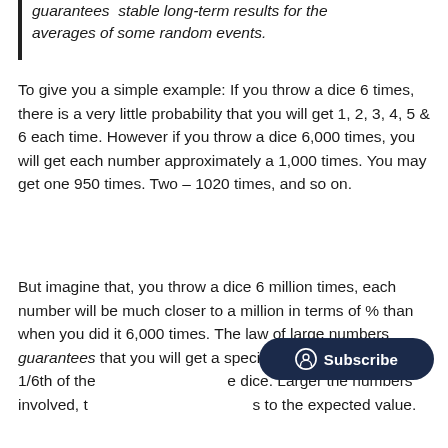guarantees stable long-term results for the averages of some random events.
To give you a simple example: If you throw a dice 6 times, there is a very little probability that you will get 1, 2, 3, 4, 5 & 6 each time. However if you throw a dice 6,000 times, you will get each number approximately a 1,000 times. You may get one 950 times. Two – 1020 times, and so on.
But imagine that, you throw a dice 6 million times, each number will be much closer to a million in terms of % than when you did it 6,000 times. The law of large numbers guarantees that you will get a specific number very close to 1/6th of the [Subscribe] dice. Larger the numbers involved, t[...] to the expected value.